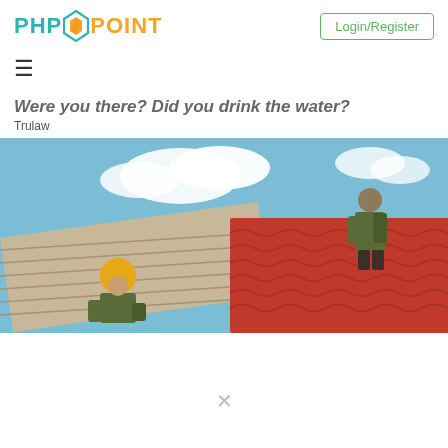PHPPOINT | Login/Register
Were you there? Did you drink the water?
Trulaw
[Figure (photo): Two construction workers on a rooftop installing red clay roof tiles under a partly cloudy blue sky. One worker wears a yellow hard hat and camouflage clothing, the other stands at the upper right also in camouflage.]